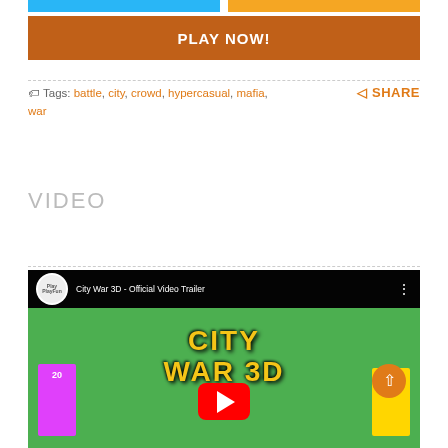[Figure (screenshot): Two colored buttons at top: blue and orange]
PLAY NOW!
Tags: battle, city, crowd, hypercasual, mafia, war
SHARE
VIDEO
[Figure (screenshot): YouTube video thumbnail for City War 3D - Official Video Trailer showing a 3D game scene with pink and yellow buildings, trees, and CITY WAR 3D title text with play button]